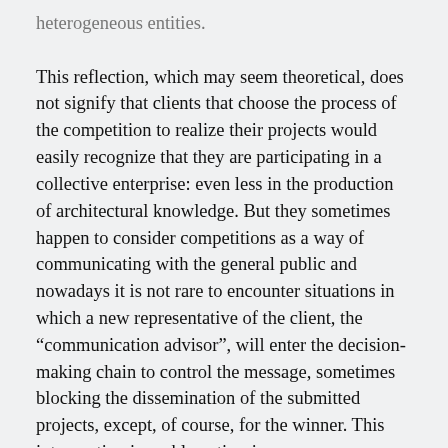heterogeneous entities. This reflection, which may seem theoretical, does not signify that clients that choose the process of the competition to realize their projects would easily recognize that they are participating in a collective enterprise: even less in the production of architectural knowledge. But they sometimes happen to consider competitions as a way of communicating with the general public and nowadays it is not rare to encounter situations in which a new representative of the client, the “communication advisor”, will enter the decision-making chain to control the message, sometimes blocking the dissemination of the submitted projects, except, of course, for the winner. This intervention is problematic, since a process designed to preserve the representativeness of the public, as well as transparency, is transformed once more into a black box (2). Access to public understanding of a competition becomes impossible once communication officers – of clients as well as designers – focus on retaining information